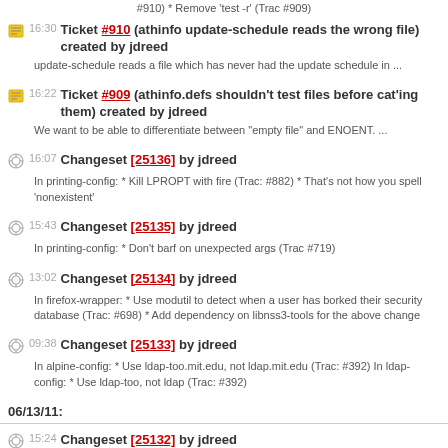#910) * Remove 'test -r' (Trac #909)
16:30 Ticket #910 (athinfo update-schedule reads the wrong file) created by jdreed
update-schedule reads a file which has never had the update schedule in ...
16:22 Ticket #909 (athinfo.defs shouldn't test files before cat'ing them) created by jdreed
We want to be able to differentiate between "empty file" and ENOENT. ...
16:07 Changeset [25136] by jdreed
In printing-config: * Kill LPROPT with fire (Trac: #882) * That's not how you spell 'nonexistent'
15:43 Changeset [25135] by jdreed
In printing-config: * Don't barf on unexpected args (Trac #719)
13:02 Changeset [25134] by jdreed
In firefox-wrapper: * Use modutil to detect when a user has borked their security database (Trac: #698) * Add dependency on libnss3-tools for the above change
09:38 Changeset [25133] by jdreed
In alpine-config: * Use ldap-too.mit.edu, not ldap.mit.edu (Trac: #392) In ldap-config: * Use ldap-too, not ldap (Trac: #392)
06/13/11:
15:24 Changeset [25132] by jdreed